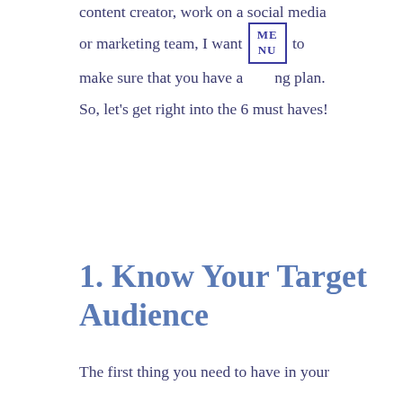content creator, work on a social media or marketing team, I want [MENU] to make sure that you have a marketing plan.
So, let's get right into the 6 must haves!
1. Know Your Target Audience
The first thing you need to have in your